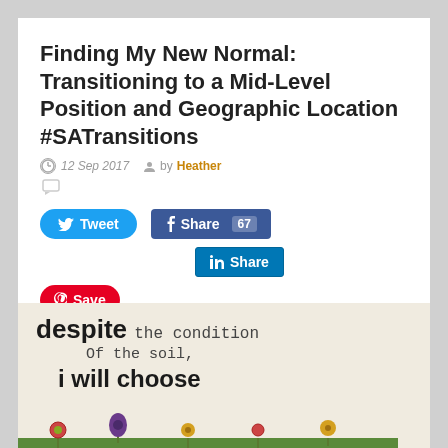Finding My New Normal: Transitioning to a Mid-Level Position and Geographic Location #SATransitions
12 Sep 2017  by Heather
[Figure (screenshot): Social sharing buttons: Tweet (Twitter, blue), Share 67 (Facebook, blue), Share (LinkedIn, blue), Save (Pinterest, red)]
[Figure (photo): Photo of embroidery/artwork with handwritten text: 'despite the condition Of the soil, i will choose' with illustrated flowers]